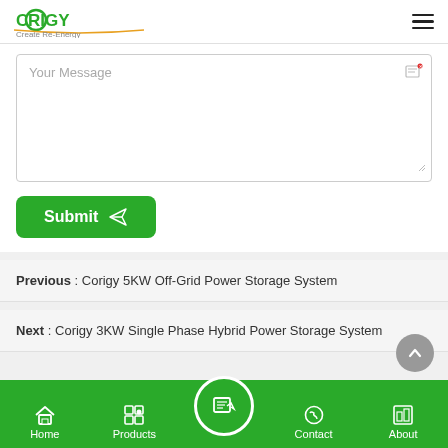CORIGY Create Re-Energy
[Figure (screenshot): Message text area input field with placeholder text 'Your Message', edit icon top right, resize handle bottom right]
[Figure (screenshot): Green Submit button with paper airplane icon]
Previous : Corigy 5KW Off-Grid Power Storage System
Next : Corigy 3KW Single Phase Hybrid Power Storage System
Home | Products | Contact | About